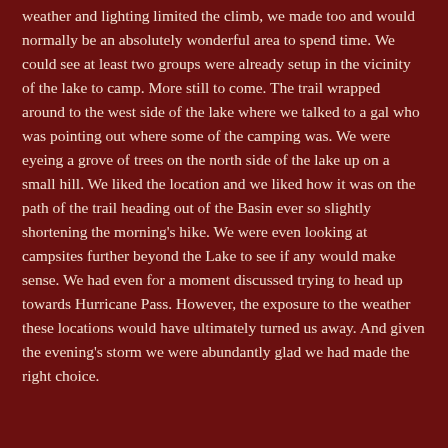weather and lighting limited the climb, we made too and would normally be an absolutely wonderful area to spend time.  We could see at least two groups were already setup in the vicinity of the lake to camp. More still to come.  The trail wrapped around to the west side of the lake where we talked to a gal who was pointing out where some of the camping was.  We were eyeing a grove of trees on the north side of the lake up on a small hill.  We liked the location and we liked how it was on the path of the trail heading out of the Basin ever so slightly shortening the morning's hike.  We were even looking at campsites further beyond the Lake to see if any would make sense.  We had even for a moment discussed trying to head up towards Hurricane Pass.  However, the exposure to the weather these locations would have ultimately turned us away.  And given the evening's storm we were abundantly glad we had made the right choice.